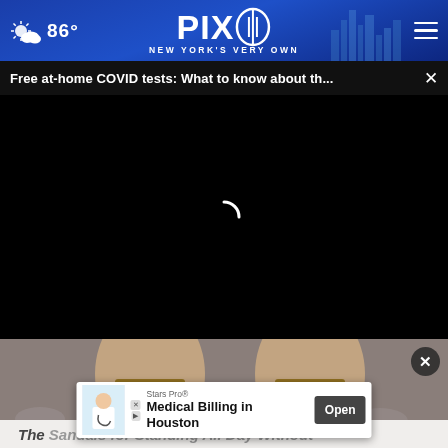[Figure (screenshot): PIX11 news website screenshot showing navigation bar with weather widget (86°), PIX11 logo, hamburger menu, breaking news alert bar, black video loading area with spinner, partial sandal photo, ad banner for Stars Pro Medical Billing in Houston, and partial page title]
86° PIX11 NEW YORK'S VERY OWN
Free at-home COVID tests: What to know about th...
Stars Pro® Medical Billing in Houston
The Sandals for Standing All Day Without